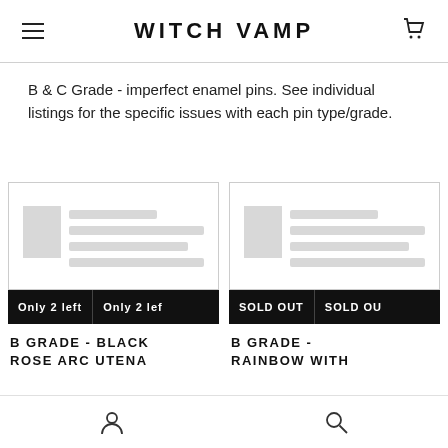WITCH VAMP
B & C Grade - imperfect enamel pins. See individual listings for the specific issues with each pin type/grade.
[Figure (screenshot): Product card placeholder image for B GRADE - BLACK ROSE ARC UTENA with 'Only 2 left' badge]
[Figure (screenshot): Product card placeholder image for B GRADE - RAINBOW WITH ... with 'SOLD OUT' badge]
B GRADE - BLACK ROSE ARC UTENA
B GRADE - RAINBOW WITH